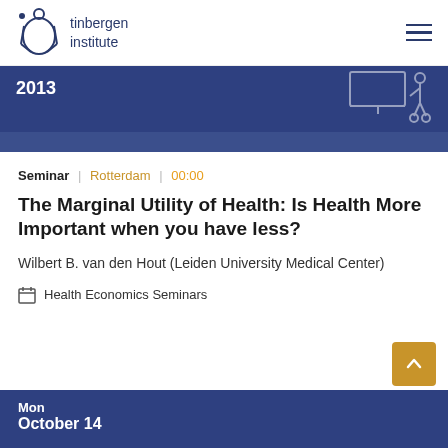tinbergen institute
2013
Seminar | Rotterdam | 00:00
The Marginal Utility of Health: Is Health More Important when you have less?
Wilbert B. van den Hout (Leiden University Medical Center)
Health Economics Seminars
Mon
October 14